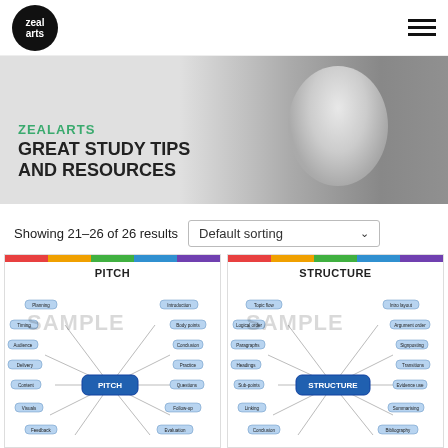Zealarts logo and navigation menu
[Figure (photo): Banner with grayscale photo of smiling young woman with earphones, overlaid with text: ZEALARTS / GREAT STUDY TIPS AND RESOURCES]
Showing 21–26 of 26 results
Default sorting
[Figure (infographic): Mind map card titled PITCH with blue node network and SAMPLE watermark and central PITCH node]
[Figure (infographic): Mind map card titled STRUCTURE with blue node network and SAMPLE watermark and central STRUCTURE node]